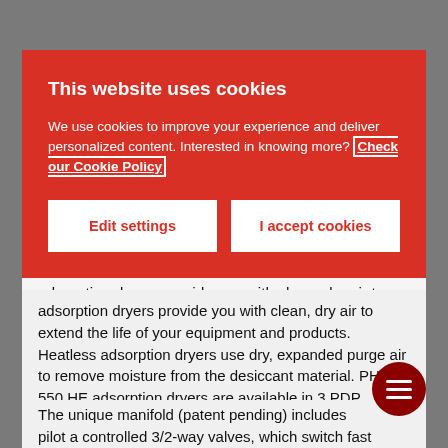[Figure (screenshot): Cookie consent banner overlay with red background, containing title 'This website uses cookies', description text with a link to Cookie Policy, and two buttons: 'Edit settings' and 'I accept cookies']
adsorption dryers provide you with clean, dry air to extend the life of your equipment and products. Heatless adsorption dryers use dry, expanded purge air to remove moisture from the desiccant material. PH 55-550 HE adsorption dryers are available in 3 PDP variants: -20°C/-4°F , -40C°/-40°F and -70°C/-94°F, each optimized to provide the lowest purge loss.
The unique manifold (patent pending) includes pilot air controlled 3/2-way valves, which switch fast and reliably.